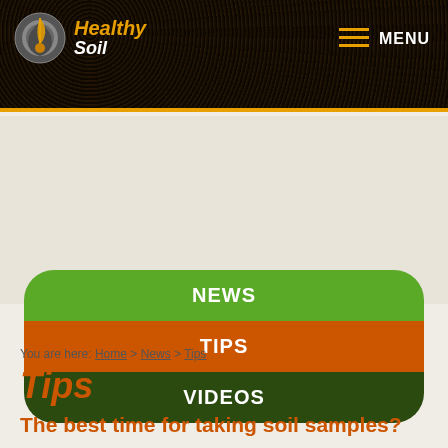[Figure (logo): Healthy Soil website logo with circular icon, orange 'Healthy' text and white 'Soil' text on dark soil-textured background header]
[Figure (screenshot): Navigation menu with NEWS (green), TIPS (orange), VIDEOS (dark green) rounded buttons]
You are here: Home > News > Tips
Tips
The best time for taking soil samples?